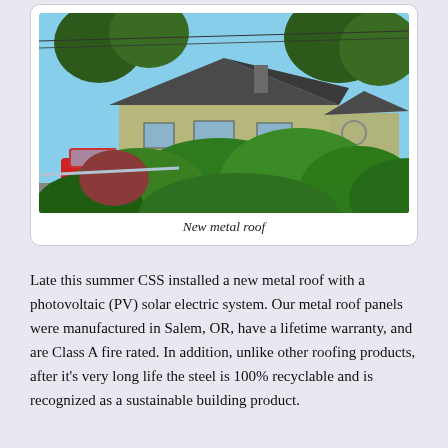[Figure (photo): Photograph of a house with a new dark metal roof, surrounded by green trees and bushes, with a red pickup truck parked to the left, power lines visible overhead, and a blue sky in the background.]
New metal roof
Late this summer CSS installed a new metal roof with a photovoltaic (PV) solar electric system. Our metal roof panels were manufactured in Salem, OR, have a lifetime warranty, and are Class A fire rated. In addition, unlike other roofing products, after it's very long life the steel is 100% recyclable and is recognized as a sustainable building product.